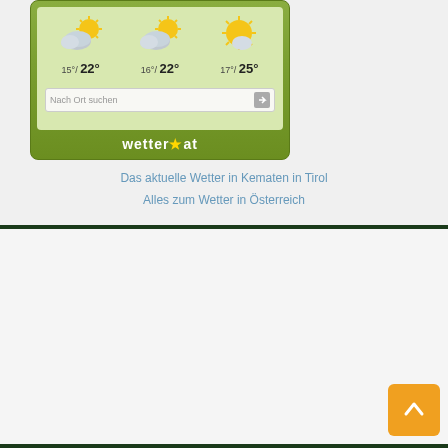[Figure (screenshot): Wetter.at weather widget showing 3-day forecast for Kematen in Tirol. Day 1: 15°/22°, Day 2: 16°/22°, Day 3: 17°/25°. Each day shows a sun-and-cloud icon. Below is a 'Nach Ort suchen' search box with arrow button. The widget has a green gradient background with 'wetter★at' branding at the bottom.]
Das aktuelle Wetter in Kematen in Tirol
Alles zum Wetter in Österreich